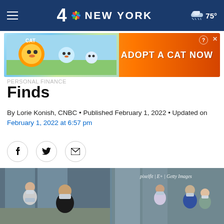4 NBC NEW YORK  75°
[Figure (photo): Advertisement banner: Cat game mobile app ad with 'ADOPT A CAT NOW' text on orange background with cartoon cat illustrations]
Finds
By Lorie Konish, CNBC • Published February 1, 2022 • Updated on February 1, 2022 at 6:57 pm
[Figure (infographic): Social sharing icons: Facebook (f), Twitter (bird), Email (envelope)]
[Figure (photo): Office meeting scene with multiple people wearing face masks in a modern office environment. Photo credit: pixelfit | E+ | Getty Images]